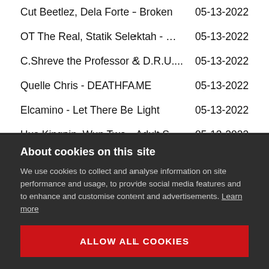Cut Beetlez, Dela Forte - Broken	05-13-2022
OT The Real, Statik Selektah - M...	05-13-2022
C.Shreve the Professor & D.R.U....	05-13-2022
Quelle Chris - DEATHFAME	05-13-2022
Elcamino - Let There Be Light	05-13-2022
Hus Kingpin, Wun Two - Adult S...	05-13-2022
Madhattan, NV - Consequences	05-13-2022
Wais P, Pete Twist - Hans Gruber	05-13-2022
About cookies on this site
We use cookies to collect and analyse information on site performance and usage, to provide social media features and to enhance and customise content and advertisements. Learn more
ALLOW ALL COOKIES